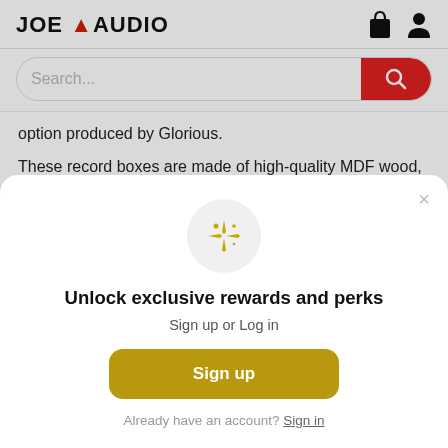JOE AUDIO
option produced by Glorious.
These record boxes are made of high-quality MDF wood, available with black or white shrink
[Figure (screenshot): Modal popup with sparkle icon, headline 'Unlock exclusive rewards and perks', subtext 'Sign up or Log in', a gold Sign up button, and 'Already have an account? Sign in' link]
Unlock exclusive rewards and perks
Sign up or Log in
Sign up
Already have an account? Sign in